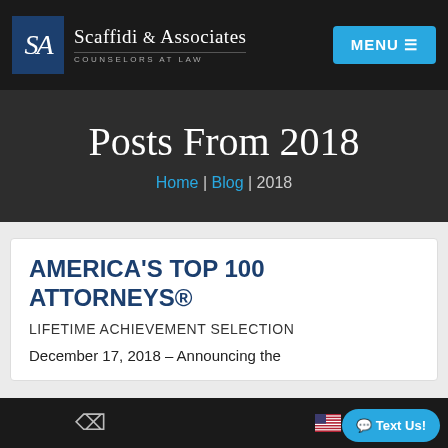Scaffidi & Associates - Counselors at Law
Posts From 2018
Home | Blog | 2018
AMERICA'S TOP 100 ATTORNEYS®
LIFETIME ACHIEVEMENT SELECTION
December 17, 2018 – Announcing the
Text Us!